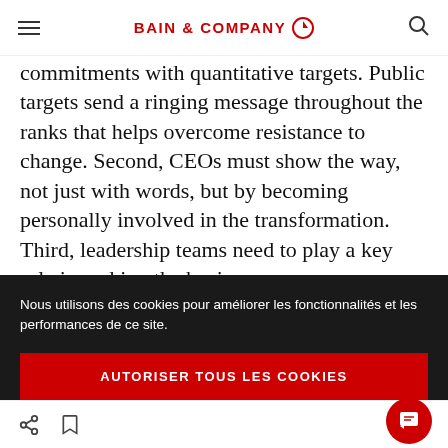BAIN & COMPANY
commitments with quantitative targets. Public targets send a ringing message throughout the ranks that helps overcome resistance to change. Second, CEOs must show the way, not just with words, but by becoming personally involved in the transformation. Third, leadership teams need to play a key role in making the business
Nous utilisons des cookies pour améliorer les fonctionnalités et les performances de ce site.
AUTORISER TOUS LES COOKIES